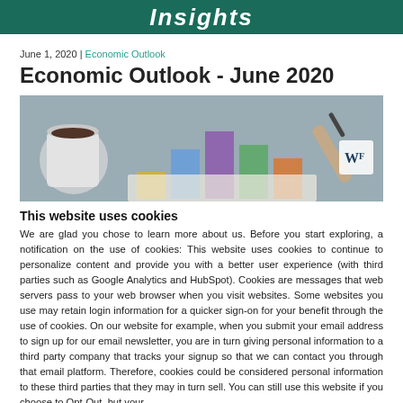Insights
June 1, 2020 | Economic Outlook
Economic Outlook - June 2020
[Figure (photo): Photo showing a bar chart on paper with a coffee mug and a hand holding a pen, with WF logo watermark]
This website uses cookies
We are glad you chose to learn more about us. Before you start exploring, a notification on the use of cookies: This website uses cookies to continue to personalize content and provide you with a better user experience (with third parties such as Google Analytics and HubSpot). Cookies are messages that web servers pass to your web browser when you visit websites. Some websites you use may retain login information for a quicker sign-on for your benefit through the use of cookies. On our website for example, when you submit your email address to sign up for our email newsletter, you are in turn giving personal information to a third party company that tracks your signup so that we can contact you through that email platform. Therefore, cookies could be considered personal information to these third parties that they may in turn sell. You can still use this website if you choose to Opt-Out, but your